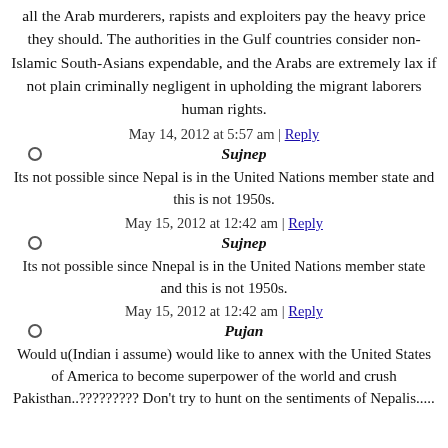all the Arab murderers, rapists and exploiters pay the heavy price they should. The authorities in the Gulf countries consider non-Islamic South-Asians expendable, and the Arabs are extremely lax if not plain criminally negligent in upholding the migrant laborers human rights.
May 14, 2012 at 5:57 am | Reply
Sujnep
Its not possible since Nepal is in the United Nations member state and this is not 1950s.
May 15, 2012 at 12:42 am | Reply
Sujnep
Its not possible since Nnepal is in the United Nations member state and this is not 1950s.
May 15, 2012 at 12:42 am | Reply
Pujan
Would u(Indian i assume) would like to annex with the United States of America to become superpower of the world and crush Pakisthan..????????? Don't try to hunt on the sentiments of Nepalis.....